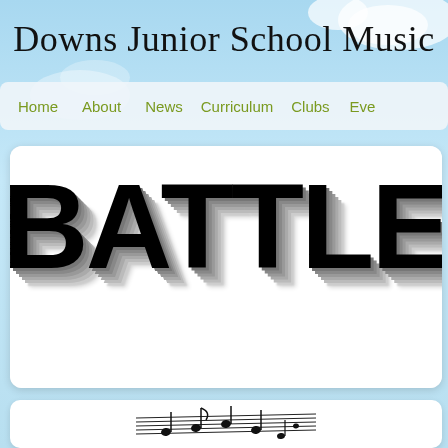Downs Junior School Music
[Figure (screenshot): Navigation bar with links: Home, About, News, Curriculum, Clubs, Eve(nts)]
[Figure (illustration): 3D bold block letters reading 'BATTLE OF' on white rounded card background]
[Figure (illustration): White rounded card with music notes illustration at bottom of page]